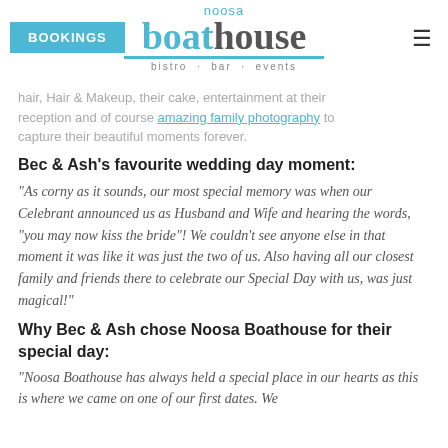BOOKINGS | Noosa Boathouse bistro · bar · events
hair, Hair & Makeup, their cake, entertainment at their reception and of course amazing family photography to capture their beautiful moments forever.
Bec & Ash's favourite wedding day moment:
“As corny as it sounds, our most special memory was when our Celebrant announced us as Husband and Wife and hearing the words, “you may now kiss the bride”! We couldn’t see anyone else in that moment it was like it was just the two of us. Also having all our closest family and friends there to celebrate our Special Day with us, was just magical!”
Why Bec & Ash chose Noosa Boathouse for their special day:
“Noosa Boathouse has always held a special place in our hearts as this is where we came on one of our first dates. We